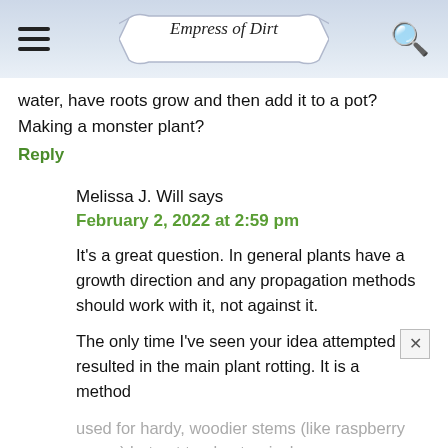Empress of Dirt
water, have roots grow and then add it to a pot? Making a monster plant?
Reply
Melissa J. Will says
February 2, 2022 at 2:59 pm
It's a great question. In general plants have a growth direction and any propagation methods should work with it, not against it.
The only time I've seen your idea attempted resulted in the main plant rotting. It is a method used for hardy, woodier stems (like raspberry canes) but not tender, tropical ones.